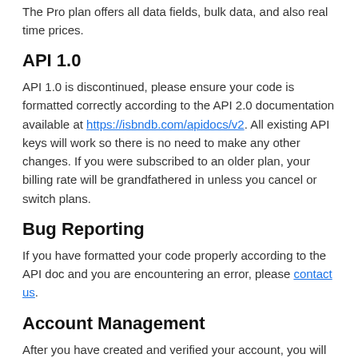The Pro plan offers all data fields, bulk data, and also real time prices.
API 1.0
API 1.0 is discontinued, please ensure your code is formatted correctly according to the API 2.0 documentation available at https://isbndb.com/apidocs/v2. All existing API keys will work so there is no need to make any other changes. If you were subscribed to an older plan, your billing rate will be grandfathered in unless you cancel or switch plans.
Bug Reporting
If you have formatted your code properly according to the API doc and you are encountering an error, please contact us.
Account Management
After you have created and verified your account, you will have access to the ISBNdb API plan that you have chosen. Your API key is available in your dashboard and will remain authorized as long as you remain subscribed to your plan.
There is a 7 day free trial so you can test the API at no risk; there is no contract, the subscription is monthly and you can cancel at any time.